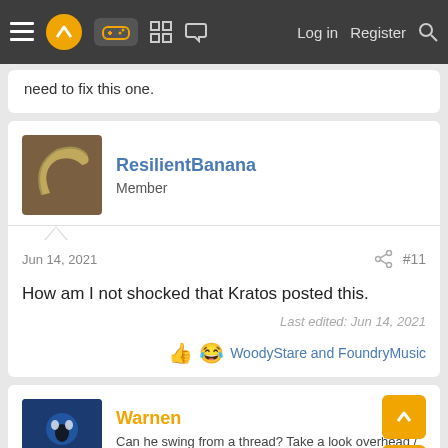Log in  Register
need to fix this one.
ResilientBanana
Member
Jun 14, 2021  #11
How am I not shocked that Kratos posted this.
Last edited: Jun 14, 2021
WoodyStare and FoundryMusic
Warnen
Can he swing from a thread? Take a look overhead / Hey, there, there goes the Spider-Man
Jun 14, 2021  #12